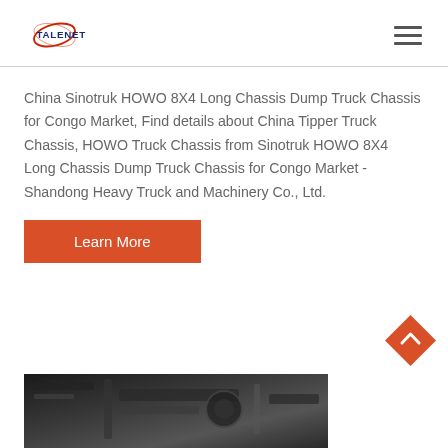TALENET
China Sinotruk HOWO 8X4 Long Chassis Dump Truck Chassis for Congo Market, Find details about China Tipper Truck Chassis, HOWO Truck Chassis from Sinotruk HOWO 8X4 Long Chassis Dump Truck Chassis for Congo Market - Shandong Heavy Truck and Machinery Co., Ltd.
Learn More
[Figure (photo): Close-up photo of heavy truck engine/chassis mechanical components, dark industrial machinery]